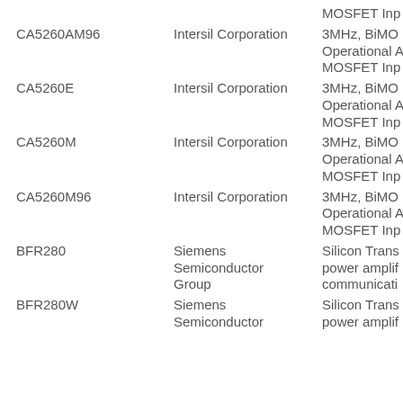| Part Number | Manufacturer | Description |
| --- | --- | --- |
|  |  | MOSFET Inp... |
| CA5260AM96 | Intersil Corporation | 3MHz, BiMO... |
|  |  | Operational A... |
|  |  | MOSFET Inp... |
| CA5260E | Intersil Corporation | 3MHz, BiMO... |
|  |  | Operational A... |
|  |  | MOSFET Inp... |
| CA5260M | Intersil Corporation | 3MHz, BiMO... |
|  |  | Operational A... |
|  |  | MOSFET Inp... |
| CA5260M96 | Intersil Corporation | 3MHz, BiMO... |
|  |  | Operational A... |
|  |  | MOSFET Inp... |
| BFR280 | Siemens Semiconductor Group | Silicon Trans... power amplif... communicati... |
| BFR280W | Siemens Semiconductor | Silicon Trans... power amplif... |